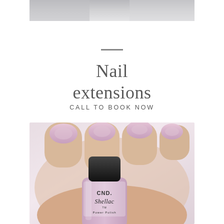[Figure (photo): Cropped photo of hands/fingers with light pink nail polish at the top of the page]
Nail extensions
CALL TO BOOK NOW
[Figure (photo): Close-up photo of a hand holding a CND Shellac nail polish bottle in light pink/lavender. The nails are painted with the same soft pink shade. The CND Shellac Power Polish label is visible on the bottle.]